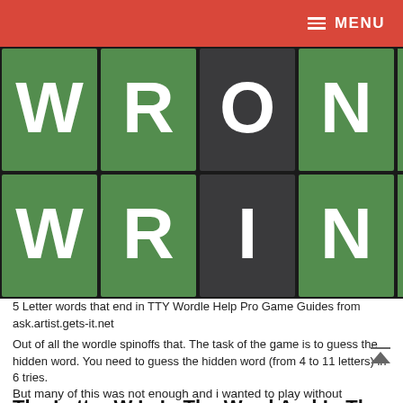MENU
[Figure (screenshot): Wordle game screenshot showing two rows of letter tiles. Top row: W (green), R (green), O (dark/black), N (green), partially visible green tile. Bottom row: W (green), R (green), I (dark/black), N (green), partially visible green tile.]
5 Letter words that end in TTY Wordle Help Pro Game Guides from ask.artist.gets-it.net
Out of all the wordle spinoffs that. The task of the game is to guess the hidden word. You need to guess the hidden word (from 4 to 11 letters) in 6 tries.
The Letter W Is In The Word And In The Correct Spot.
But many of this was not enough and i wanted to play without